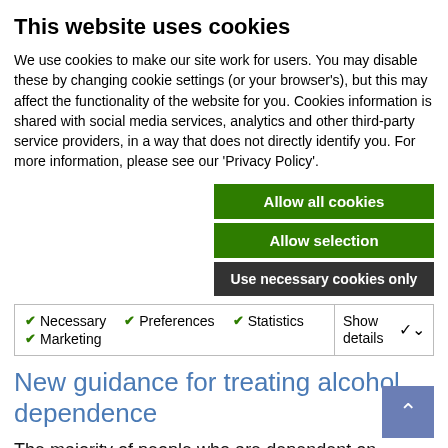This website uses cookies
We use cookies to make our site work for users. You may disable these by changing cookie settings (or your browser's), but this may affect the functionality of the website for you. Cookies information is shared with social media services, analytics and other third-party service providers, in a way that does not directly identify you. For more information, please see our ‘Privacy Policy’.
Allow all cookies
Allow selection
Use necessary cookies only
Necessary  Preferences  Statistics  Marketing  Show details
consumer, not the provider.
New guidance for treating alcohol dependence
The majority of people who are dependent on alcohol are not currently being treated, partly